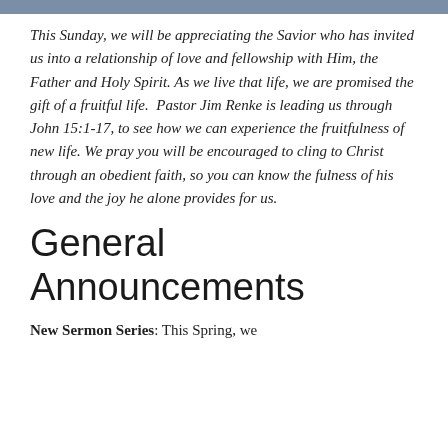This Sunday, we will be appreciating the Savior who has invited us into a relationship of love and fellowship with Him, the Father and Holy Spirit. As we live that life, we are promised the gift of a fruitful life.  Pastor Jim Renke is leading us through John 15:1-17, to see how we can experience the fruitfulness of new life. We pray you will be encouraged to cling to Christ through an obedient faith, so you can know the fulness of his love and the joy he alone provides for us.
General Announcements
New Sermon Series: This Spring, we